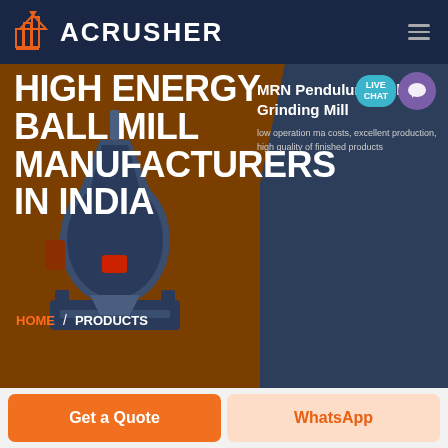ACRUSHER
HIGH ENERGY BALL MILL MANUFACTURERS IN INDIA
MRN Pendulum Roller Grinding Mill
low operation costs, excellent production, high quality of finished products
LIVE CHAT
HOME / PRODUCTS
[Figure (screenshot): Website screenshot of Acrusher with hero banner showing a ball mill machine image on brown background transitioning to dark blue]
Get a Quote
WhatsApp